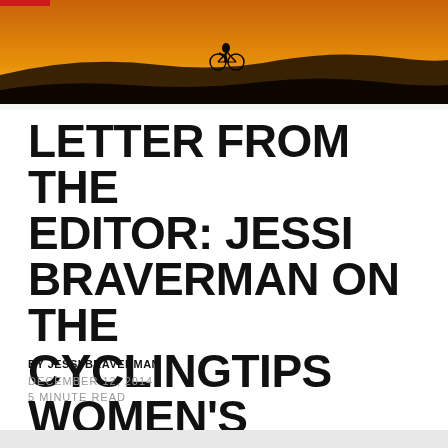[Figure (photo): A silhouette of a person on a bicycle on a hilltop against an orange/amber sunset sky]
LETTER FROM THE EDITOR: JESSI BRAVERMAN ON THE CYCLINGTIPS WOMEN'S SECTION
BY JESSI BRAVERMAN
DECEMBER 12, 2014
5 MINUTE READ